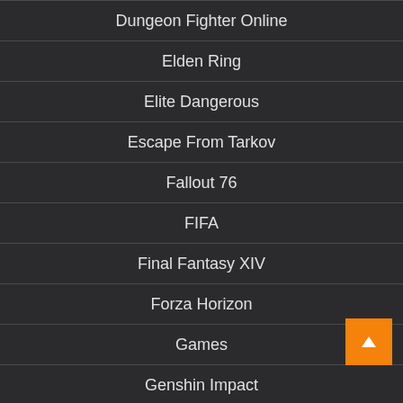Dungeon Fighter Online
Elden Ring
Elite Dangerous
Escape From Tarkov
Fallout 76
FIFA
Final Fantasy XIV
Forza Horizon
Games
Genshin Impact
Grand Theft Auto